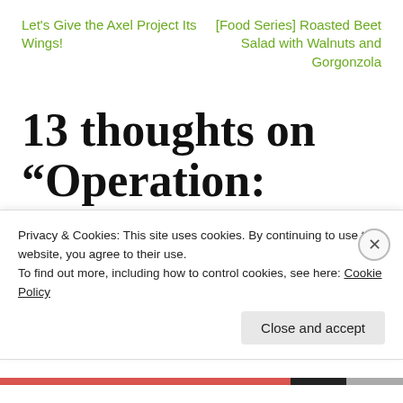Let's Give the Axel Project Its Wings!
[Food Series] Roasted Beet Salad with Walnuts and Gorgonzola
13 thoughts on “Operation: Camping Checklist! Check!”
Tanya Koob says:
Privacy & Cookies: This site uses cookies. By continuing to use this website, you agree to their use.
To find out more, including how to control cookies, see here: Cookie Policy
Close and accept